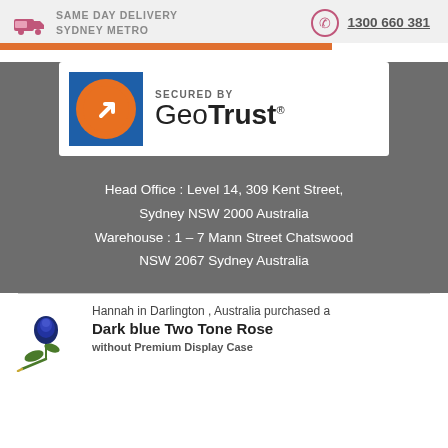SAME DAY DELIVERY SYDNEY METRO
1300 660 381
[Figure (logo): Secured by GeoTrust badge logo with blue square, orange arrow circle, and text 'SECURED BY GeoTrust']
Head Office : Level 14, 309 Kent Street, Sydney NSW 2000 Australia Warehouse : 1 - 7 Mann Street Chatswood NSW 2067 Sydney Australia
Hannah in Darlington , Australia purchased a
Dark blue Two Tone Rose
without Premium Display Case